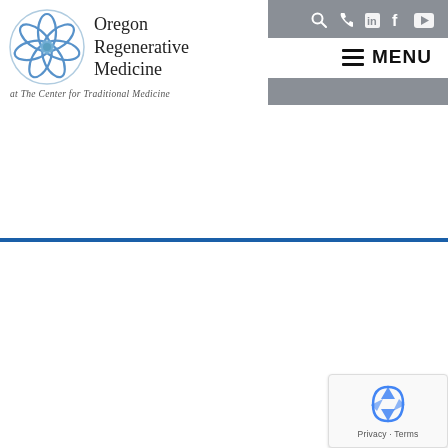[Figure (logo): Oregon Regenerative Medicine logo: circular blue interlocking symbol with text 'Oregon Regenerative Medicine at The Center for Traditional Medicine']
[Figure (infographic): Navigation bar with search, phone, LinkedIn, Facebook, YouTube icons on grey background, and hamburger MENU button below]
[Figure (other): reCAPTCHA widget showing recycling arrow icon with 'Privacy - Terms' text, positioned bottom-right]